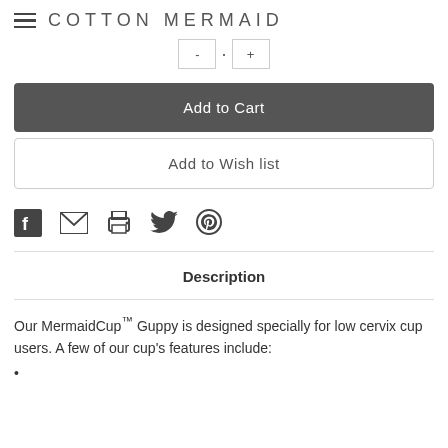COTTON MERMAID
Add to Cart
Add to Wish list
[Figure (other): Social sharing icons: Facebook, Email, Print, Twitter, Pinterest]
Description
Our MermaidCup™ Guppy is designed specially for low cervix cup users. A few of our cup's features include:
•